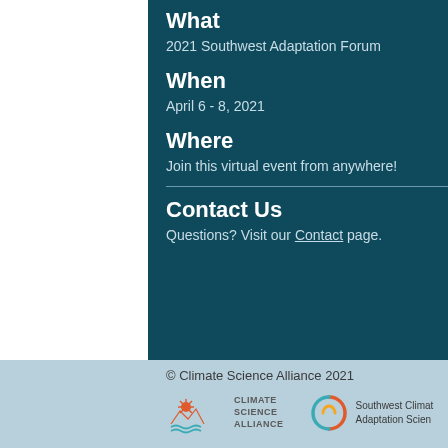What
2021 Southwest Adaptation Forum
When
April 6 - 8, 2021
Where
Join this virtual event from anywhere!
Contact Us
Questions? Visit our Contact page.
© Climate Science Alliance 2021
[Figure (logo): Climate Science Alliance logo with sun and waves icon]
[Figure (logo): Southwest Climate Adaptation Science logo with circular swirl icon]